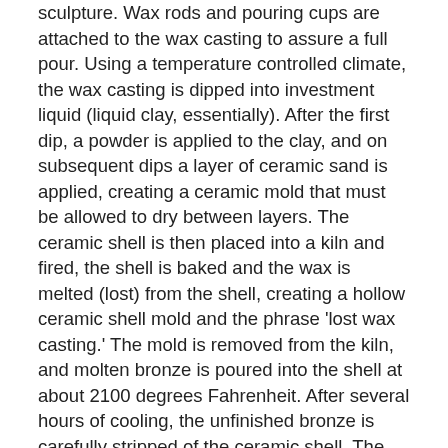sculpture. Wax rods and pouring cups are attached to the wax casting to assure a full pour. Using a temperature controlled climate, the wax casting is dipped into investment liquid (liquid clay, essentially). After the first dip, a powder is applied to the clay, and on subsequent dips a layer of ceramic sand is applied, creating a ceramic mold that must be allowed to dry between layers. The ceramic shell is then placed into a kiln and fired, the shell is baked and the wax is melted (lost) from the shell, creating a hollow ceramic shell mold and the phrase 'lost wax casting.' The mold is removed from the kiln, and molten bronze is poured into the shell at about 2100 degrees Fahrenheit. After several hours of cooling, the unfinished bronze is carefully stripped of the ceramic shell. The ceramic shell fragments are carefully removed from the bronze, which is carefully inspected at this stage. If required, this is the time when a master craftsman would weld larger sections together, and chase or re-detail the weld marks. Afterward, the craftsman uses a process called 'glass beading' in which the bronze is sprayed with powdered glass under extremely high pressures to ensure an even bronze finish. The bronze is now hand polished and heated to await the patina application. The patina is hand applied by the artisan, and a layer of wax is hand applied with heat to ensure a lustrous patina finish. After